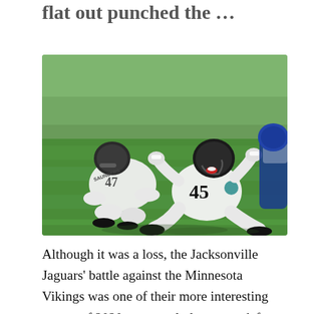flat out punched the …
[Figure (photo): A Jacksonville Jaguars player wearing jersey #45 sits on the field laughing/celebrating, while a teammate wearing jersey #47 (SAUNDERS) crouches nearby. Another player in a blue/white Colts uniform is visible at the right edge. The game is being played on a green grass field.]
Although it was a loss, the Jacksonville Jaguars' battle against the Minnesota Vikings was one of their more interesting games of 2020 as several players on defense played lights out in